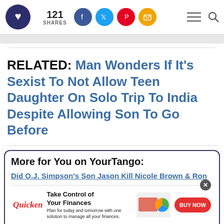YourTango header with logo, 121 SHARES, social icons (Facebook, Twitter, Pinterest, Email), hamburger menu and search icon
RELATED: Man Wonders If It's Sexist To Not Allow Teen Daughter On Solo Trip To India Despite Allowing Son To Go Before
More for You on YourTango:
Did O.J. Simpson's Son Jason Kill Nicole Brown & Ron
[Figure (other): Quicken advertisement banner: Take Control of Your Finances. Plan for today and tomorrow with one solution to manage all your finances. BUY NOW button. Shows woman working on laptop with Quicken dashboard graphic.]